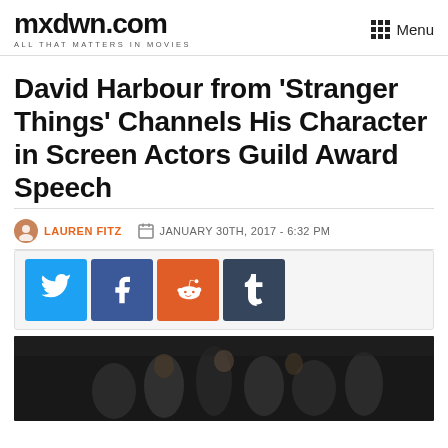mxdwn.com — ALL THAT MATTERS IN MOVIES | Menu
David Harbour from ‘Stranger Things’ Channels His Character in Screen Actors Guild Award Speech
LAUREN FITZ — JANUARY 30TH, 2017 - 6:32 PM
[Figure (screenshot): Social sharing buttons: Twitter (light blue), Facebook (dark blue), Reddit (orange), Tumblr (dark slate)]
[Figure (photo): Dark photo of group of people on stage at Screen Actors Guild Awards]